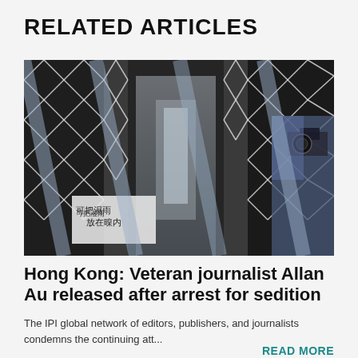RELATED ARTICLES
[Figure (photo): Photograph taken through metal bars/grille showing a glass-fronted building entrance with a geometric lattice pattern. Chinese text signage visible on the left. A person with a camera is visible on the right side, reflected or photographed through the security bars.]
Hong Kong: Veteran journalist Allan Au released after arrest for sedition
The IPI global network of editors, publishers, and journalists condemns the continuing att...
READ MORE